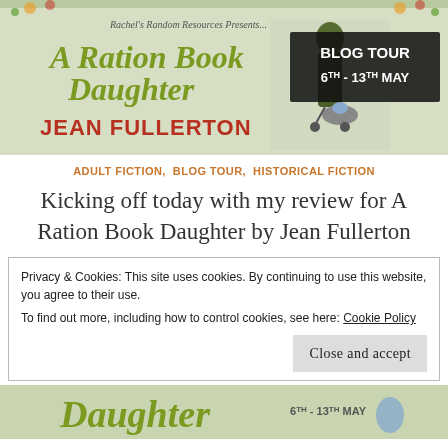[Figure (illustration): Blog tour banner for 'A Ration Book Daughter' by Jean Fullerton. Reads: Rachel's Random Resources Presents... A Ration Book Daughter, Jean Fullerton. Blog Tour 6TH - 13TH MAY. Features a woman in green coat pushing a pram.]
ADULT FICTION, BLOG TOUR, HISTORICAL FICTION
Kicking off today with my review for A Ration Book Daughter by Jean Fullerton
Privacy & Cookies: This site uses cookies. By continuing to use this website, you agree to their use.
To find out more, including how to control cookies, see here: Cookie Policy
[Figure (illustration): Partial bottom banner showing 'Daughter' text and '6TH - 13TH MAY' partially visible at bottom of page.]